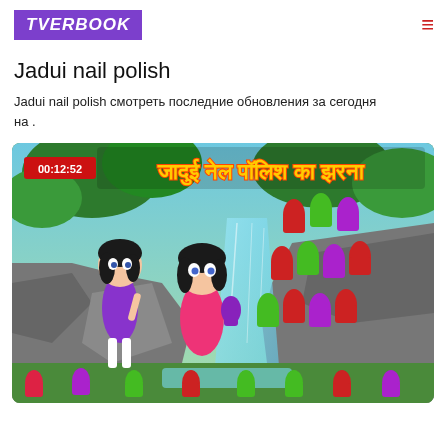TVERBOOK
Jadui nail polish
Jadui nail polish смотреть последние обновления за сегодня на .
[Figure (screenshot): Animated cartoon thumbnail showing two female cartoon characters near a waterfall flowing with colorful nail polish bottles (red, green, purple). Hindi text at top reads 'जादुई नेल पॉलिश का झरना'. Duration badge shows 00:12:52.]